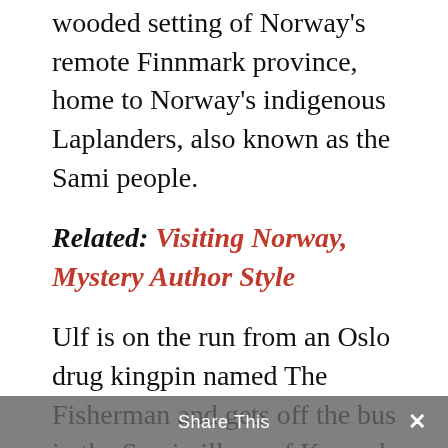wooded setting of Norway's remote Finnmark province, home to Norway's indigenous Laplanders, also known as the Sami people.
Related: Visiting Norway, Mystery Author Style
Ulf is on the run from an Oslo drug kingpin named The Fisherman and gets off the bus in the Sami village of Kasund. It's a random choice but a lucky break: Ulf meets Lea and her son Knut who buy his story of coming for the grouse hunting. Ulf is soon installed in a
Share This